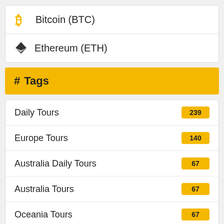Bitcoin (BTC)
Ethereum (ETH)
# Tags
Daily Tours 239
Europe Tours 140
Australia Daily Tours 67
Australia Tours 67
Oceania Tours 67
France Tours 51
France Daily Tours 50